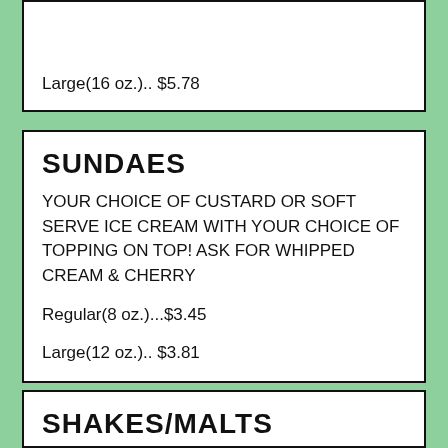Large(16 oz.).. $5.78
SUNDAES
YOUR CHOICE OF CUSTARD OR SOFT SERVE ICE CREAM WITH YOUR CHOICE OF TOPPING ON TOP! ASK FOR WHIPPED CREAM & CHERRY
Regular(8 oz.)...$3.45
Large(12 oz.).. $3.81
SHAKES/MALTS
VANILLA, CHOCOLATE, STRAWBERRY, MINT,